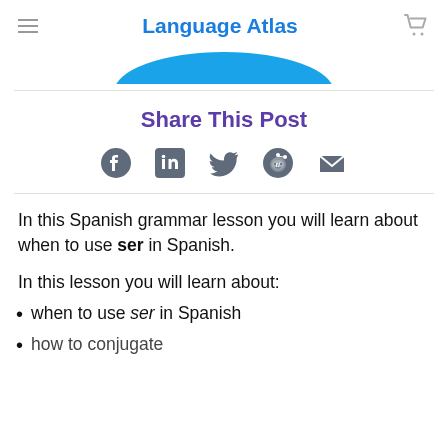Language Atlas
[Figure (illustration): Blue curved/wave shape at top of content area]
Share This Post
[Figure (infographic): Social share icons: Facebook, LinkedIn, Twitter, Reddit, Email]
In this Spanish grammar lesson you will learn about when to use ser in Spanish.
In this lesson you will learn about:
when to use ser in Spanish
(partially visible second list item)